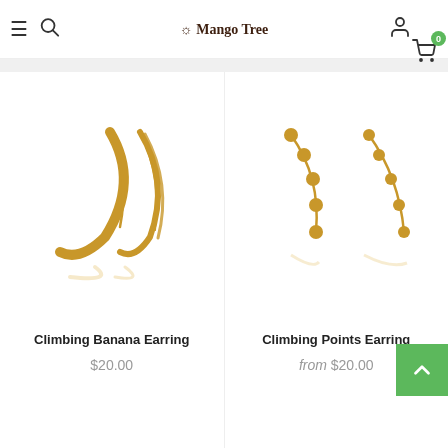Mango Tree
[Figure (photo): Two gold climbing banana earrings shown as a pair on white background with reflection]
Climbing Banana Earring
$20.00
[Figure (photo): Two gold climbing points earrings with circular dots along a curved bar, shown as a pair on white background with reflection]
Climbing Points Earring
from $20.00